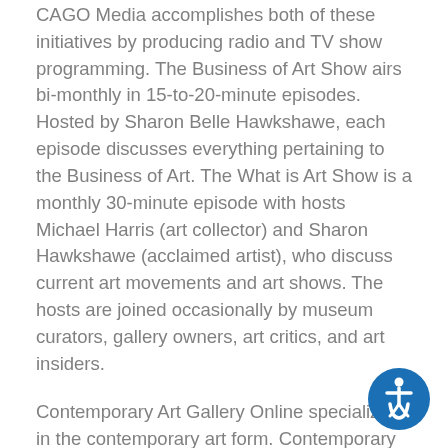CAGO Media accomplishes both of these initiatives by producing radio and TV show programming. The Business of Art Show airs bi-monthly in 15-to-20-minute episodes. Hosted by Sharon Belle Hawkshawe, each episode discusses everything pertaining to the Business of Art. The What is Art Show is a monthly 30-minute episode with hosts Michael Harris (art collector) and Sharon Hawkshawe (acclaimed artist), who discuss current art movements and art shows. The hosts are joined occasionally by museum curators, gallery owners, art critics, and art insiders.
Contemporary Art Gallery Online specializes in the contemporary art form. Contemporary art is defined as artistic work from the present era that uses the current practices and styles of its discipline. Although the words Modern Art and Contemporary Art are used interchangeably, they do represent two distinctive moments on the art timeline. Modern Art encompasses art from the Impressionists (around 1880) up until the 1970's. Contemporary Art encompasses the art from the